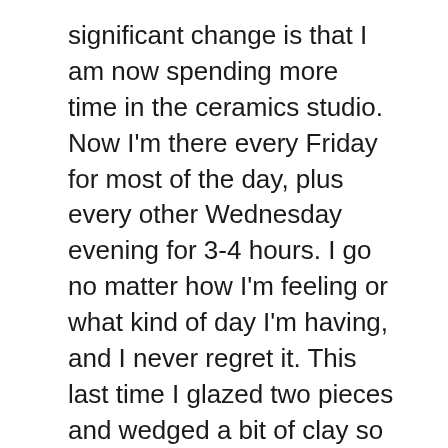significant change is that I am now spending more time in the ceramics studio. Now I'm there every Friday for most of the day, plus every other Wednesday evening for 3-4 hours. I go no matter how I'm feeling or what kind of day I'm having, and I never regret it. This last time I glazed two pieces and wedged a bit of clay so that it is useable again. And that's it.
Actually, that's not it. My teacher/mentor and I spent some time talking about an exhibition submission we're preparing. We edited our project idea and divided the prep tasks so that we can get all the paperwork in today. I'll be thrilled if they accept the project, because I've really been wanting to make a larger sculptural work with wire, but since I have limited space in